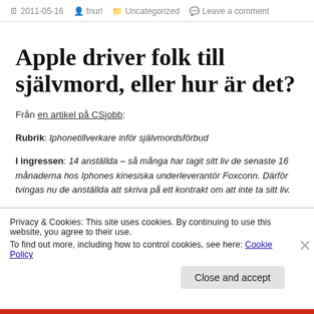2011-05-16   fnurl   Uncategorized   Leave a comment
Apple driver folk till självmord, eller hur är det?
Från en artikel på CSjobb:
Rubrik: Iphonetillverkare inför självmordsförbud
I ingressen: 14 anställda – så många har tagit sitt liv de senaste 16 månaderna hos Iphones kinesiska underleverantör Foxconn. Därför tvingas nu de anställda att skriva på ett kontrakt om att inte ta sitt liv.
Näst sista stycket: Utöver Apple levererar Foxconn, som är ett av
Privacy & Cookies: This site uses cookies. By continuing to use this website, you agree to their use.
To find out more, including how to control cookies, see here: Cookie Policy
Close and accept